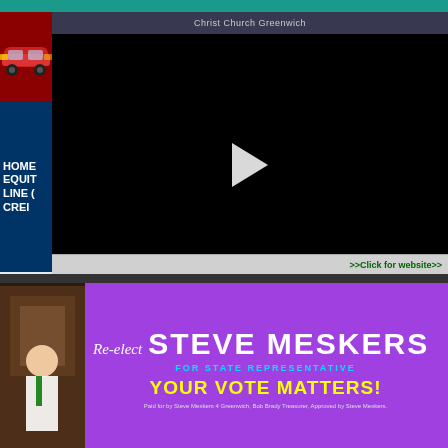[Figure (screenshot): Top teal navigation/header bar of a news website]
[Figure (photo): Classic red car advertisement on left sidebar]
[Figure (advertisement): Home Equity Line of Credit advertisement - dark blue background with white bold text reading HOME EQUITY LINE OF CREDIT]
[Figure (screenshot): Black video player with white play button triangle, Christ Church Greenwich title bar at top]
[Figure (advertisement): Consta company logo/advertisement on left sidebar]
>>Click for website>>
[Figure (advertisement): Re-elect Steve Meskers political ad - purple background. Text reads: Re-elect STEVE MESKERS FOR STATE REPRESENTATIVE YOUR VOTE MATTERS! Paid for by Steve Meskers 4 Greenwich, Bob Brady Treasurer, Approved by Steve Meskers.]